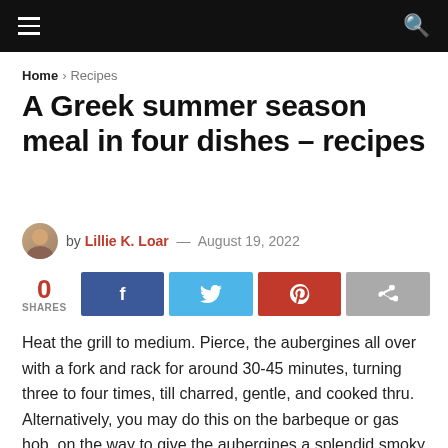≡  🔍
Home > Recipes
A Greek summer season meal in four dishes – recipes
by Lillie K. Loar — August 19, 2022
0 SHARES [Facebook] [Twitter] [Pinterest] [Share]
Heat the grill to medium. Pierce, the aubergines all over with a fork and rack for around 30-45 minutes, turning three to four times, till charred, gentle, and cooked thru. Alternatively, you may do this on the barbeque or gas hob, on the way to give the aubergines a splendid smoky flavor, and they may cook dinner plenty extra quick.